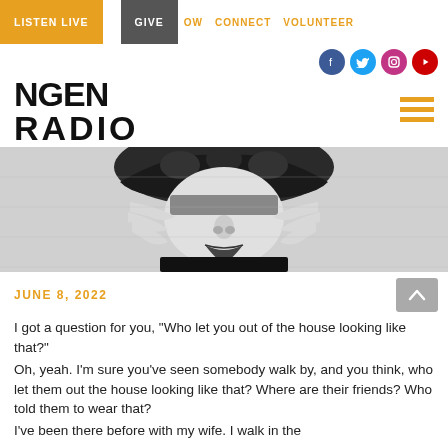LISTEN LIVE  GIVE  CONNECT  VOLUNTEER
[Figure (logo): NGEN RADIO logo in bold black text]
[Figure (photo): Black and white artistic illustration/photo of a woman's face with hands raised near her face, wearing a patterned hat]
JUNE 8, 2022
I got a question for you, "Who let you out of the house looking like that?" Oh, yeah. I'm sure you've seen somebody walk by, and you think, who let them out the house looking like that? Where are their friends? Who told them to wear that? I've been there before with my wife. I walk in the